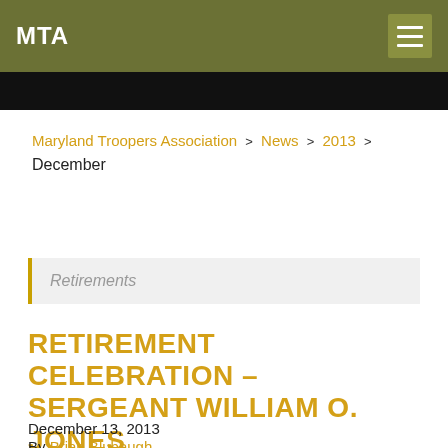MTA
Maryland Troopers Association > News > 2013 > December
Retirements
RETIREMENT CELEBRATION – SERGEANT WILLIAM O. JONES
December 13, 2013
By Brian Blubaugh